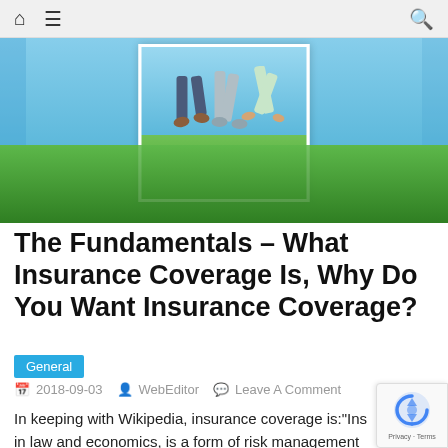Navigation bar with home, menu, and search icons
[Figure (photo): People jumping on a grass field under a blue sky, with a white-framed central photo showing their legs mid-jump]
The Fundamentals – What Insurance Coverage Is, Why Do You Want Insurance Coverage?
General
2018-09-03  WebEditor  Leave A Comment
In keeping with Wikipedia, insurance coverage is:"Insurance, in law and economics, is a form of risk management used to hedge against the risk of a contingent loss. Insurance